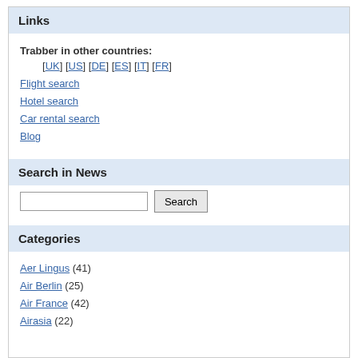Links
Trabber in other countries:
[UK] [US] [DE] [ES] [IT] [FR]
Flight search
Hotel search
Car rental search
Blog
Search in News
Categories
Aer Lingus (41)
Air Berlin (25)
Air France (42)
Airasia (22)